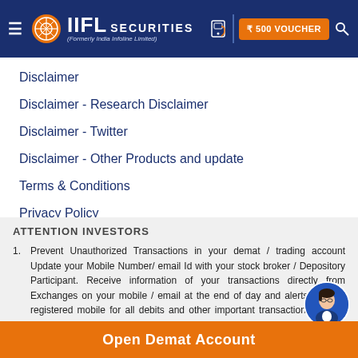[Figure (logo): IIFL Securities logo with hamburger menu, orange emblem, white IIFL SECURITIES text, and subtitle '(Formerly India Infoline Limited)'. Header also contains phone icon, vertical divider, orange '₹500 VOUCHER' button, and search icon.]
Disclaimer
Disclaimer - Research Disclaimer
Disclaimer - Twitter
Disclaimer - Other Products and update
Terms & Conditions
Privacy Policy
Sitemap
ATTENTION INVESTORS
Prevent Unauthorized Transactions in your demat / trading account Update your Mobile Number/ email Id with your stock broker / Depository Participant. Receive information of your transactions directly from Exchanges on your mobile / email at the end of day and alerts on your registered mobile for all debits and other important transactions in your demat account directly from NSDL/ CDSL on the same day." – Issued in the interest of investors.
Open Demat Account